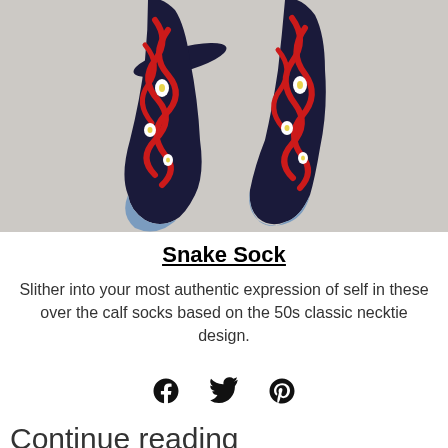[Figure (photo): Two knee-high socks with a dark navy background featuring red snake-like curving lines and circular eye-like patterns in white and yellow. The heels and toes are light blue. Socks are displayed suspended in the air against a light gray background.]
Snake Sock
Slither into your most authentic expression of self in these over the calf socks based on the 50s classic necktie design.
[Figure (infographic): Social share icons: Facebook, Twitter, Pinterest]
Continue reading